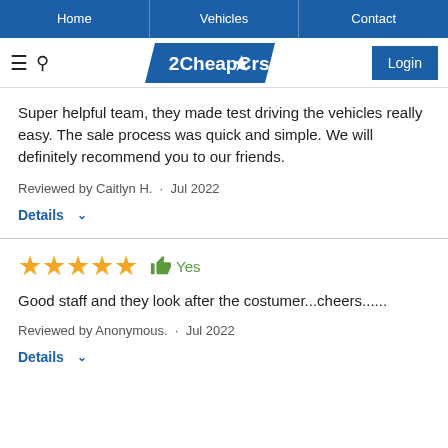Home | Vehicles | Contact
[Figure (logo): 2CheapCars logo with blue parallelogram background and star replacing letter A]
Super helpful team, they made test driving the vehicles really easy. The sale process was quick and simple. We will definitely recommend you to our friends.
Reviewed by Caitlyn H. · Jul 2022
Details ∨
★★★★★ 👍 Yes
Good staff and they look after the costumer...cheers......
Reviewed by Anonymous. · Jul 2022
Details ∨